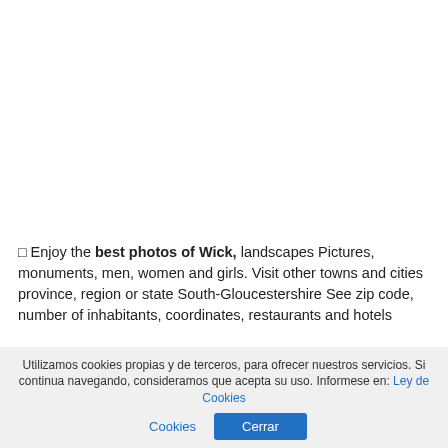◻ Enjoy the best photos of Wick, landscapes Pictures, monuments, men, women and girls. Visit other towns and cities province, region or state South-Gloucestershire See zip code, number of inhabitants, coordinates, restaurants and hotels
These are photos taken by their neighbors and tourists, In the vicinity of the following coordinates, latitude and longitude
Utilizamos cookies propias y de terceros, para ofrecer nuestros servicios. Si continua navegando, consideramos que acepta su uso. Informese en: Ley de Cookies Cerrar